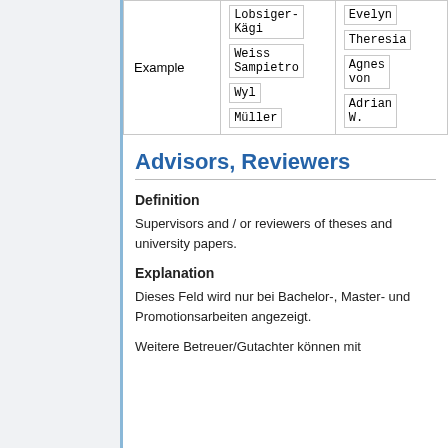|  | Last name | First name |
| --- | --- | --- |
| Example | Lobsiger-Kägi
Weiss Sampietro
Wyl
Müller | Evelyn
Theresia
Agnes von
Adrian W. |
Advisors, Reviewers
Definition
Supervisors and / or reviewers of theses and university papers.
Explanation
Dieses Feld wird nur bei Bachelor-, Master- und Promotionsarbeiten angezeigt.
Weitere Betreuer/Gutachter können mit